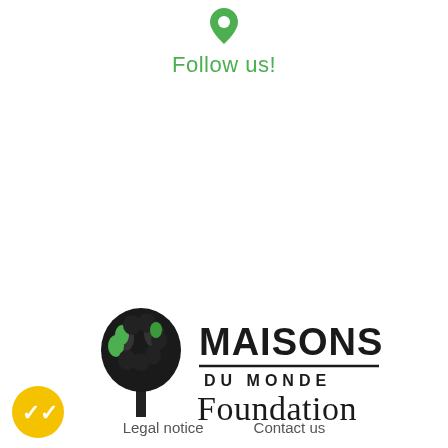[Figure (logo): Green map pin / location marker icon]
Follow us!
[Figure (logo): Maisons du Monde Foundation logo with stylized tree and text]
Legal notice    Contact us